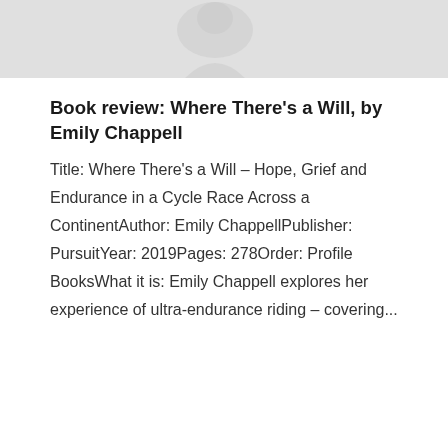[Figure (photo): Faded grayscale image banner showing a partial figure or illustration, light gray background]
Book review: Where There's a Will, by Emily Chappell
Title: Where There's a Will – Hope, Grief and Endurance in a Cycle Race Across a ContinentAuthor: Emily ChappellPublisher: PursuitYear: 2019Pages: 278Order: Profile BooksWhat it is: Emily Chappell explores her experience of ultra-endurance riding – covering...